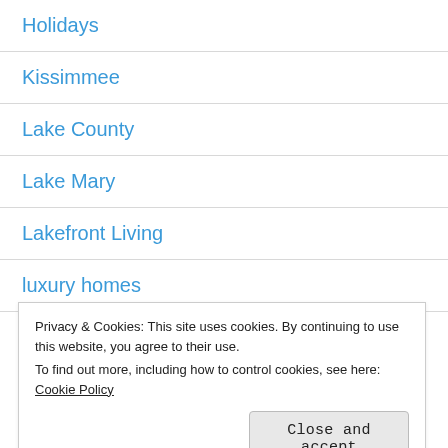Holidays
Kissimmee
Lake County
Lake Mary
Lakefront Living
luxury homes
Maitland
Privacy & Cookies: This site uses cookies. By continuing to use this website, you agree to their use.
To find out more, including how to control cookies, see here: Cookie Policy
Close and accept